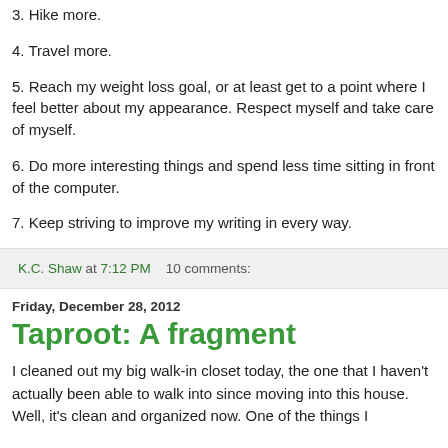3. Hike more.
4. Travel more.
5. Reach my weight loss goal, or at least get to a point where I feel better about my appearance. Respect myself and take care of myself.
6. Do more interesting things and spend less time sitting in front of the computer.
7. Keep striving to improve my writing in every way.
K.C. Shaw at 7:12 PM    10 comments:
Friday, December 28, 2012
Taproot: A fragment
I cleaned out my big walk-in closet today, the one that I haven't actually been able to walk into since moving into this house. Well, it's clean and organized now. One of the things I